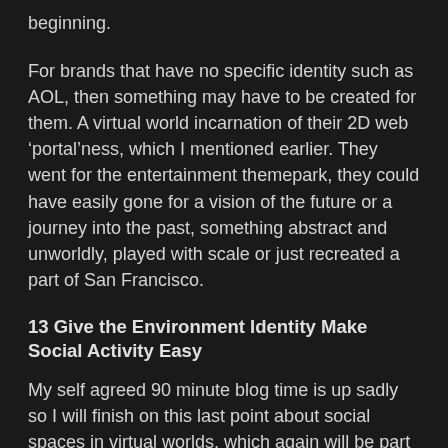beginning.
For brands that have no specific identity such as AOL, then something may have to be created for them. A virtual world incarnation of their 2D web ‘portal’ness, which I mentioned earlier. They went for the entertainment themepark, they could have easily gone for a vision of the future or a journey into the past, something abstract and unworldly, played with scale or just recreated a part of San Francisco.
13 Give the Environment Identity Make Social Activity Easy
My self agreed 90 minute blog time is up sadly so I will finish on this last point about social spaces in virtual worlds, which again will be part of a few posts on other more prominent blogs. The number of cafes, cinemas, meeting rooms, lecture theatres, living rooms and so on that are completely empty, yet just outside the door are groups of avatars happily chatting away, staggers me. Developers, including myself sometimes, put great effort into lots of interior detail, to then find later no one is